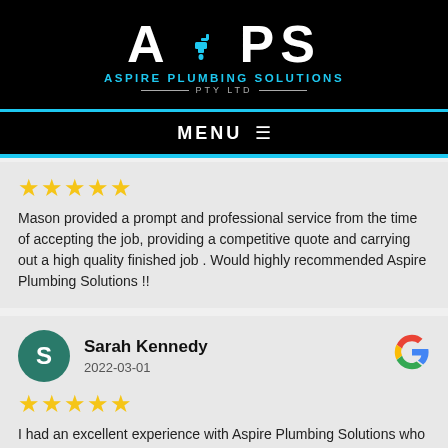[Figure (logo): APS Aspire Plumbing Solutions PTY LTD logo with faucet icon, white text on black background with blue accent]
MENU ☰
★★★★★
Mason provided a prompt and professional service from the time of accepting the job, providing a competitive quote and carrying out a high quality finished job . Would highly recommended Aspire Plumbing Solutions !!
Sarah Kennedy
2022-03-01
★★★★★
I had an excellent experience with Aspire Plumbing Solutions who came quickly to unblock my shower drain after it was blocked by tree roots. Very professional to